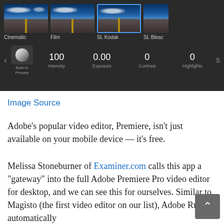[Figure (screenshot): Screenshot of a video editing app (Adobe Premiere Rush) showing filter presets (Cinematic, Film, SL Kodak selected, SL Bleac) with thumbnails of a road/sky scene, and controls showing Built-In Presets, Intensity: 100, Exposure: 0.00, Contrast: 0, Highlights: 0]
Image Source
Adobe’s popular video editor, Premiere, isn’t just available on your mobile device — it’s free.
Melissa Stoneburner of Examiner.com calls this app a “gateway” into the full Adobe Premiere Pro video editor for desktop, and we can see this for ourselves. Similar to Magisto (the first video editor on our list), Adobe Rush automatically